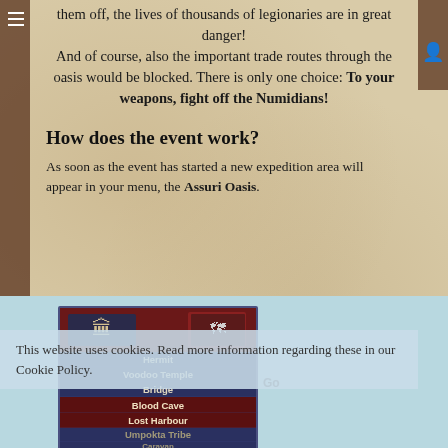them off, the lives of thousands of legionaries are in great danger! And of course, also the important trade routes through the oasis would be blocked. There is only one choice: To your weapons, fight off the Numidians!
How does the event work?
As soon as the event has started a new expedition area will appear in your menu, the Assuri Oasis.
[Figure (screenshot): Game UI screenshot showing expedition area menu with items: Hermit, Voodoo Temple, Bridge, Blood Cave, Lost Harbour, Umpokta Tribe, Caravan. Header shows temple icon and map of Italy region.]
This website uses cookies. Read more information regarding these in our Cookie Policy.